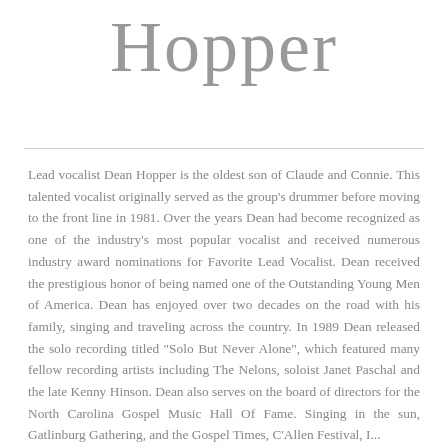Hopper
Lead vocalist Dean Hopper is the oldest son of Claude and Connie. This talented vocalist originally served as the group's drummer before moving to the front line in 1981. Over the years Dean had become recognized as one of the industry's most popular vocalist and received numerous industry award nominations for Favorite Lead Vocalist. Dean received the prestigious honor of being named one of the Outstanding Young Men of America. Dean has enjoyed over two decades on the road with his family, singing and traveling across the country. In 1989 Dean released the solo recording titled "Solo But Never Alone", which featured many fellow recording artists including The Nelons, soloist Janet Paschal and the late Kenny Hinson. Dean also serves on the board of directors for the North Carolina Gospel Music Hall Of Fame. Singing in the sun, Gatlinburg Gathering, and the Gospel Times, CaEllen Festival, I...